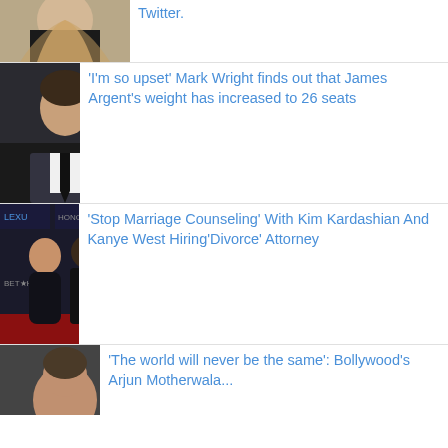[Figure (photo): Partial image of a woman with long blonde hair, wearing dark clothing]
Twitter.
[Figure (photo): Man in black suit and tie at an event]
'I'm so upset' Mark Wright finds out that James Argent's weight has increased to 26 seats
[Figure (photo): Kim Kardashian and Kanye West at BET Honors event, both dressed in black on a red carpet]
'Stop Marriage Counseling' With Kim Kardashian And Kanye West Hiring'Divorce' Attorney
[Figure (photo): Partial image of a person at the bottom of the page]
'The world will never be the same': Bollywood's Arjun Motherwala...